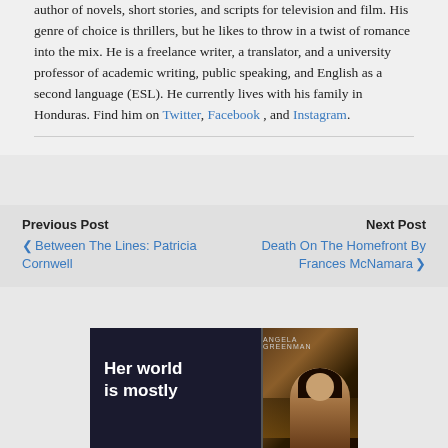author of novels, short stories, and scripts for television and film. His genre of choice is thrillers, but he likes to throw in a twist of romance into the mix. He is a freelance writer, a translator, and a university professor of academic writing, public speaking, and English as a second language (ESL). He currently lives with his family in Honduras. Find him on Twitter, Facebook , and Instagram.
Previous Post
❮ Between The Lines: Patricia Cornwell
Next Post
Death On The Homefront By Frances McNamara ❯
[Figure (illustration): Book banner advertisement with dark background showing text 'Her world is mostly' in white bold font on left side and a book cover on the right featuring 'Angela Greenman' as author with a woman figure and city backdrop.]